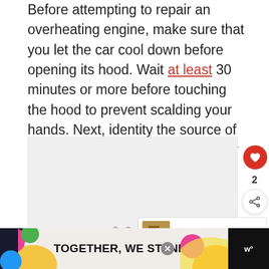Before attempting to repair an overheating engine, make sure that you let the car cool down before opening its hood. Wait at least 30 minutes or more before touching the hood to prevent scalding your hands. Next, identity the source of the problem. The specific steps for fixing a car engine that's overheating often depend on an underlying issue.
[Figure (photo): Image placeholder area with light gray background, showing navigation dots and a 'What's Next' card for 'How to Fix an RV...' with a like button (heart icon, count 2) and share button on the right side.]
[Figure (screenshot): Advertisement banner at bottom: black background with a colorful 'TOGETHER, WE STAND' ad, close button, and a logo on the right.]